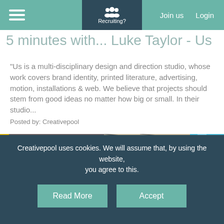Recruiting? | Join us | Login
5 minutes with... Luke Taylor - Us
"Us is a multi-disciplinary design and direction studio, whose work covers brand identity, printed literature, advertising, motion, installations & web. We believe that projects should stem from good ideas no matter how big or small. In their studio...
Posted by: Creativepool
[Figure (photo): Interior photo showing overhead view of a restaurant or lounge space with seating and a blue water feature on the right.]
Creativepool uses cookies. We will assume that, by using the website, you agree to this.
Read More | Accept